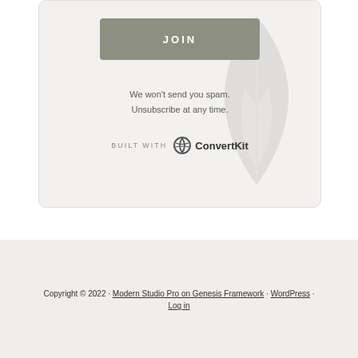[Figure (other): JOIN button - a grey-green rectangular button with white uppercase text JOIN in letter-spaced font, inside a light grey rounded card with a faint leaf/plant watermark]
We won't send you spam. Unsubscribe at any time.
[Figure (logo): BUILT WITH ConvertKit logo - text 'BUILT WITH' in small caps followed by ConvertKit circular logo icon and wordmark]
Copyright © 2022 · Modern Studio Pro on Genesis Framework · WordPress · Log in